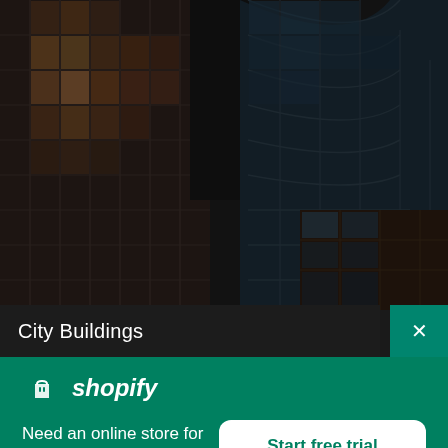[Figure (photo): Upward-looking photograph of glass and brick city buildings against a dark sky, showing angular modern skyscrapers with grid-like window patterns.]
City Buildings
shopify
Need an online store for your business?
Start free trial